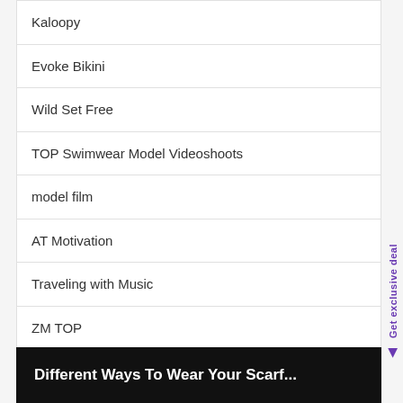Kaloopy
Evoke Bikini
Wild Set Free
TOP Swimwear Model Videoshoots
model film
AT Motivation
Traveling with Music
ZM TOP
Bikini Tryon Haul
Get exclusive deal
Different Ways To Wear Your Scarf...